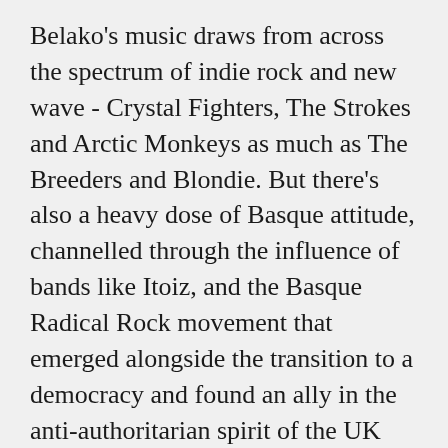Belako's music draws from across the spectrum of indie rock and new wave - Crystal Fighters, The Strokes and Arctic Monkeys as much as The Breeders and Blondie. But there's also a heavy dose of Basque attitude, channelled through the influence of bands like Itoiz, and the Basque Radical Rock movement that emerged alongside the transition to a democracy and found an ally in the anti-authoritarian spirit of the UK punk a few years earlier.
"There are a lot of punk bands from that time influenced by The Clash and the Sex Pistols," explains Josu. "Everything is more political there, and we were been born